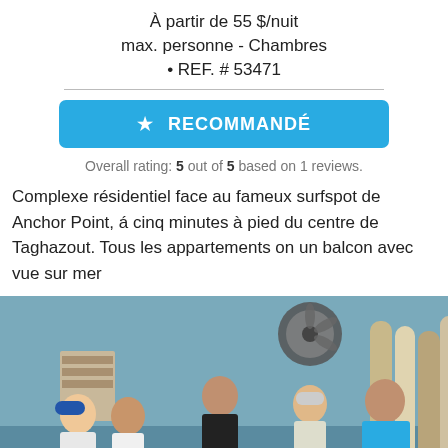À partir de 55 $/nuit max. personne - Chambres • REF. # 53471
RECOMMANDÉ
Overall rating: 5 out of 5 based on 1 reviews.
Complexe résidentiel face au fameux surfspot de Anchor Point, á cinq minutes à pied du centre de Taghazout. Tous les appartements on un balcon avec vue sur mer
[Figure (photo): Group of people gathered around a table in what appears to be a surf workshop or factory, with surfboards visible in the background and a large industrial fan on the ceiling.]